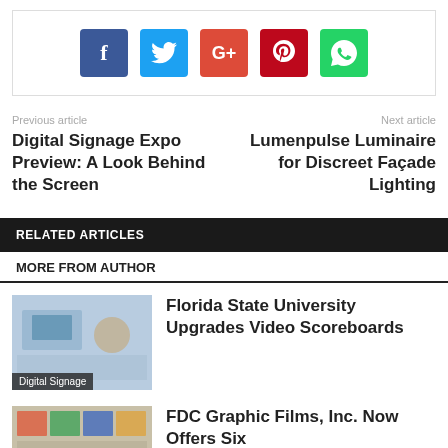[Figure (infographic): Social share buttons: Facebook, Twitter, Google+, Pinterest, WhatsApp]
Previous article
Digital Signage Expo Preview: A Look Behind the Screen
Next article
Lumenpulse Luminaire for Discreet Façade Lighting
RELATED ARTICLES
MORE FROM AUTHOR
[Figure (photo): Thumbnail image for Florida State University article with Digital Signage label]
Florida State University Upgrades Video Scoreboards
[Figure (photo): Thumbnail image for FDC Graphic Films article]
FDC Graphic Films, Inc. Now Offers Six